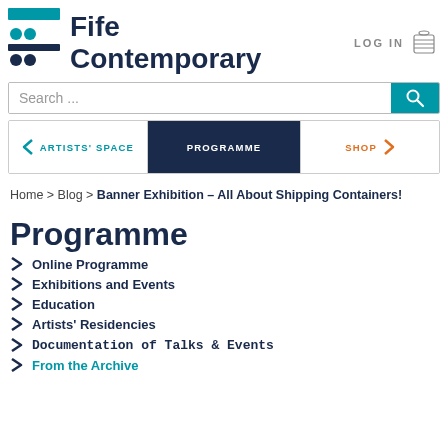Fife Contemporary
Search ...
ARTISTS' SPACE  PROGRAMME  SHOP
Home > Blog > Banner Exhibition – All About Shipping Containers!
Programme
Online Programme
Exhibitions and Events
Education
Artists' Residencies
Documentation of Talks & Events
From the Archive